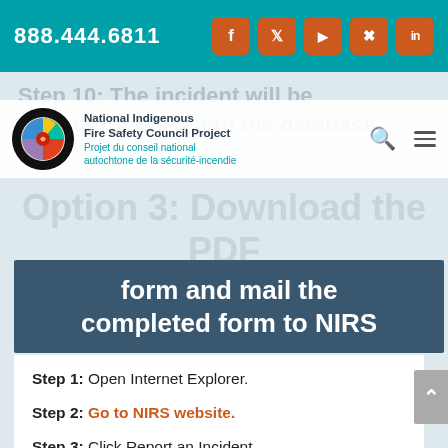888.444.6811
[Figure (logo): National Indigenous Fire Safety Council Project logo with medicine wheel]
Step 10: The incident will be incorporated into the database.
Option 3: Download the PDF form and mail the completed form to NIRS
Step 1: Open Internet Explorer.
Step 2: Go to NIRS website.
Step 3: Click Report an Incident.
Step 4: Download the fillable PDF form.